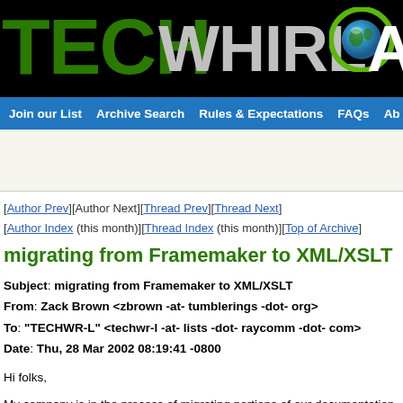[Figure (logo): TECHWHIRL Archives logo with green TECH text, grey WHIRL text, globe icon, and white AR text on black background]
Join our List   Archive Search   Rules & Expectations   FAQs   Ab
[Author Prev][Author Next][Thread Prev][Thread Next]
[Author Index (this month)][Thread Index (this month)][Top of Archive]
migrating from Framemaker to XML/XSLT
Subject: migrating from Framemaker to XML/XSLT
From: Zack Brown <zbrown -at- tumblerings -dot- org>
To: "TECHWR-L" <techwr-l -at- lists -dot- raycomm -dot- com>
Date: Thu, 28 Mar 2002 08:19:41 -0800
Hi folks,
My company is in the process of migrating portions of our documentation system from Framemaker to XML/XSLT. There are a number of rationales for